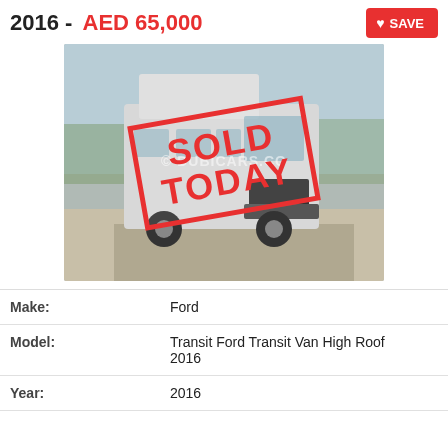2016 - AED 65,000
[Figure (photo): White Ford Transit Van High Roof 2016 with 'SOLD TODAY' stamp overlay, watermarked with © DUBICARS.COM]
| Make: | Ford |
| Model: | Transit Ford Transit Van High Roof 2016 |
| Year: | 2016 |